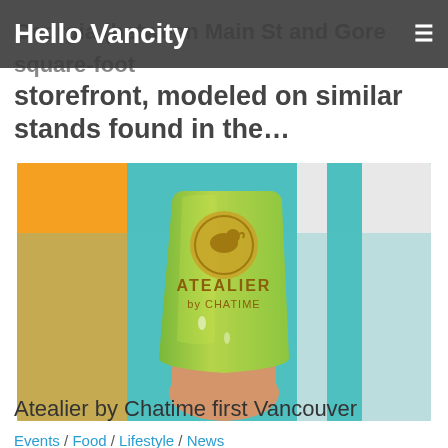Hello Vancity
Georgia (between Main St and Gore... square-foot storefront, modeled on similar stands found in the...
[Figure (photo): A hand holding a green bubble tea cup with 'ATEALIER by CHATIME' branding, photographed against a colorful teal and orange background.]
Events / Food / Lifestyle / News
July 15, 2021
Atealier by Chatime first Vancouver